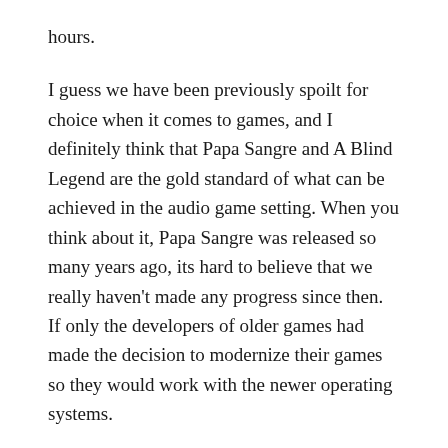hours.
I guess we have been previously spoilt for choice when it comes to games, and I definitely think that Papa Sangre and A Blind Legend are the gold standard of what can be achieved in the audio game setting. When you think about it, Papa Sangre was released so many years ago, its hard to believe that we really haven't made any progress since then. If only the developers of older games had made the decision to modernize their games so they would work with the newer operating systems.
Having said all this, I will still continue to buy any games that are released, because without patronage, we won't get any more. I hope the